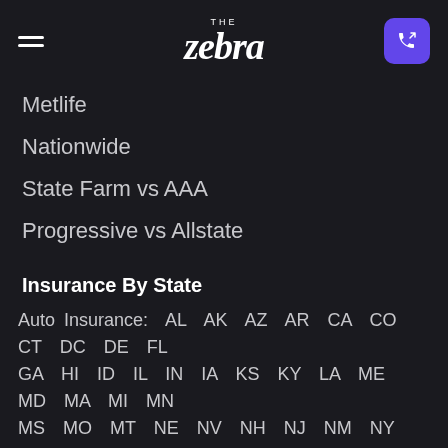THE Zebra
Metlife
Nationwide
State Farm vs AAA
Progressive vs Allstate
Insurance By State
Auto Insurance: AL AK AZ AR CA CO CT DC DE FL GA HI ID IL IN IA KS KY LA ME MD MA MI MN MS MO MT NE NV NH NJ NM NY NC ND OH OK OR PA RI SC SD TN TX UT VT VA WA WV WI WY | Home Insurance: AL AK AZ AR CA CO CT DC DE FL GA HI ID IL IN IA KS KY LA ME MD MA MI